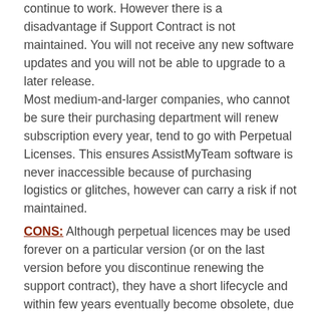continue to work. However there is a disadvantage if Support Contract is not maintained. You will not receive any new software updates and you will not be able to upgrade to a later release.
Most medium-and-larger companies, who cannot be sure their purchasing department will renew subscription every year, tend to go with Perpetual Licenses. This ensures AssistMyTeam software is never inaccessible because of purchasing logistics or glitches, however can carry a risk if not maintained.
CONS: Although perpetual licences may be used forever on a particular version (or on the last version before you discontinue renewing the support contract), they have a short lifecycle and within few years eventually become obsolete, due to factors such as supported hardware and companion software. As a result you may need to